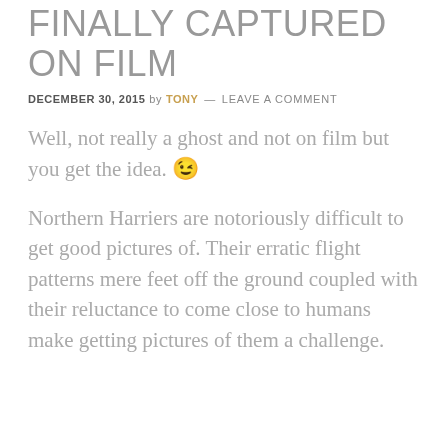FINALLY CAPTURED ON FILM
DECEMBER 30, 2015 by TONY — LEAVE A COMMENT
Well, not really a ghost and not on film but you get the idea. 😉
Northern Harriers are notoriously difficult to get good pictures of. Their erratic flight patterns mere feet off the ground coupled with their reluctance to come close to humans make getting pictures of them a challenge.